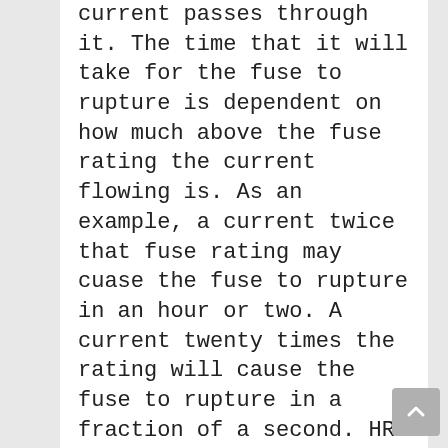current passes through it. The time that it will take for the fuse to rupture is dependent on how much above the fuse rating the current flowing is. As an example, a current twice that fuse rating may cuase the fuse to rupture in an hour or two. A current twenty times the rating will cause the fuse to rupture in a fraction of a second. HRC (High Rupture Capacity) fuses are capable of interrupting very high currents (many thousands of Amps) and thus are used for short circuit protection.

Some fuses are unstalled into